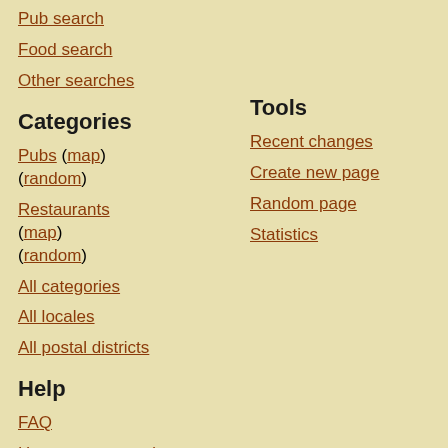Pub search
Food search
Other searches
Categories
Pubs (map) (random)
Restaurants (map) (random)
All categories
All locales
All postal districts
Tools
Recent changes
Create new page
Random page
Statistics
Help
FAQ
How to get started
How to make links and things
Wiki etiquette